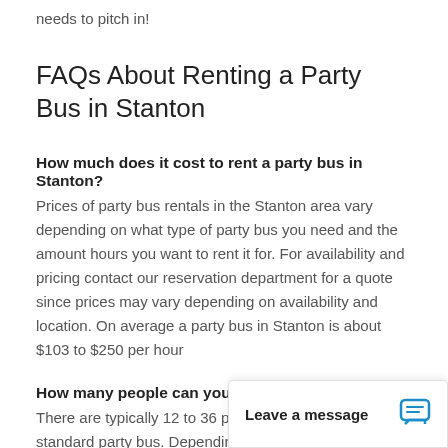needs to pitch in!
FAQs About Renting a Party Bus in Stanton
How much does it cost to rent a party bus in Stanton?
Prices of party bus rentals in the Stanton area vary depending on what type of party bus you need and the amount hours you want to rent it for. For availability and pricing contact our reservation department for a quote since prices may vary depending on availability and location. On average a party bus in Stanton is about $103 to $250 per hour
How many people can you fit in a party bus?
There are typically 12 to 36 people who can fit into a standard party bus. Depending on how many passengers you need there are party bus rentals that fit your party size comfortably!
How much do you tip a p
While it's not mandatory if
Leave a message